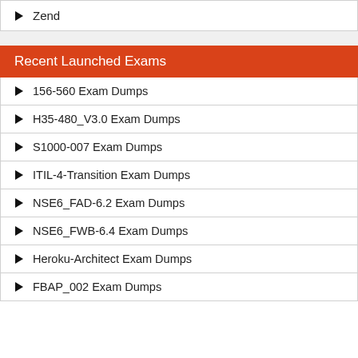Zend
Recent Launched Exams
156-560 Exam Dumps
H35-480_V3.0 Exam Dumps
S1000-007 Exam Dumps
ITIL-4-Transition Exam Dumps
NSE6_FAD-6.2 Exam Dumps
NSE6_FWB-6.4 Exam Dumps
Heroku-Architect Exam Dumps
FBAP_002 Exam Dumps